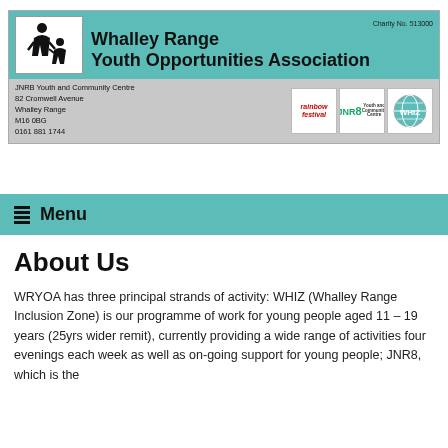Whalley Range Youth Opportunities Association | Charity No. 513000 | JNRB Youth and Community Centre, 82 Cromwell Avenue, Whalley Range, M16 0BG, 0161 881 1744
Menu
About Us
WRYOA has three principal strands of activity: WHIZ (Whalley Range Inclusion Zone) is our programme of work for young people aged 11 – 19 years (25yrs wider remit), currently providing a wide range of activities four evenings each week as well as on-going support for young people; JNR8, which is the